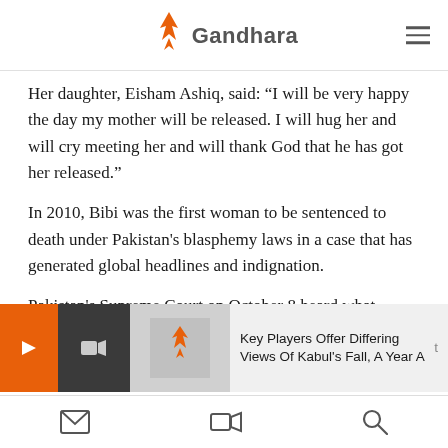Gandhara
Her daughter, Eisham Ashiq, said: "I will be very happy the day my mother will be released. I will hug her and will cry meeting her and will thank God that he has got her released."
In 2010, Bibi was the first woman to be sentenced to death under Pakistan's blasphemy laws in a case that has generated global headlines and indignation.
Pakistan's Supreme Court on October 8 heard what media described a[s] ... who has denied a[ll]...
[Figure (screenshot): Overlay notification bar with orange arrow button, dark video icon strip, thumbnail image, and text 'Key Players Offer Differing Views Of Kabul's Fall, A Year A[fter]']
Bottom navigation bar with envelope, video camera, and search icons